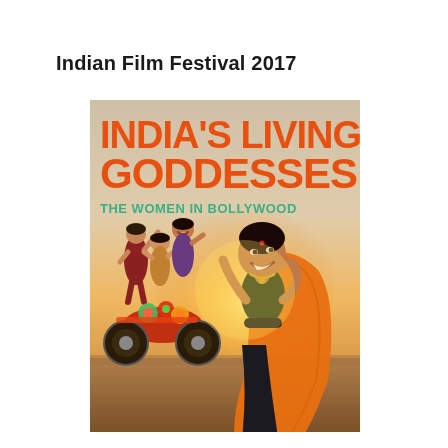Indian Film Festival 2017
[Figure (illustration): Movie poster for 'India's Living Goddesses: The Women in Bollywood' — a warm-toned outdoor scene showing several Indian women celebrating; one woman in the foreground wearing orange and green traditional attire dances joyfully, while others pose on a decorated motorcycle in the background. The poster has large orange bold text reading 'INDIA'S LIVING GODDESSES' and teal subtitle 'THE WOMEN IN BOLLYWOOD'.]